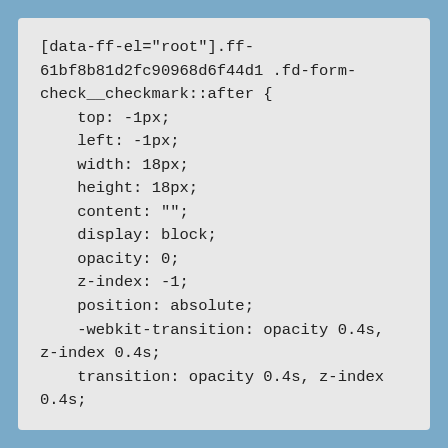[data-ff-el="root"].ff-61bf8b81d2fc90968d6f44d1 .fd-form-check__checkmark::after {
    top: -1px;
    left: -1px;
    width: 18px;
    height: 18px;
    content: "";
    display: block;
    opacity: 0;
    z-index: -1;
    position: absolute;
    -webkit-transition: opacity 0.4s, z-index 0.4s;
    transition: opacity 0.4s, z-index 0.4s;